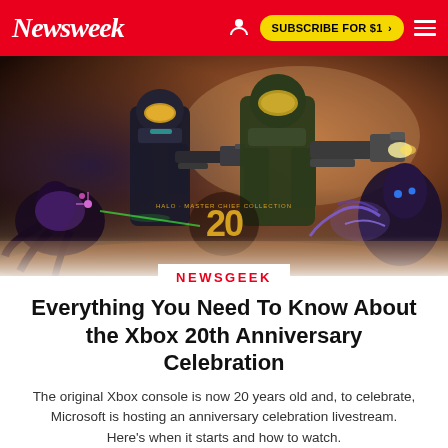Newsweek | SUBSCRIBE FOR $1 >
[Figure (illustration): Hero image showing armored soldiers (Master Chief style) from Halo game with a large golden '20' anniversary logo in the center, set against a dramatic battle scene with alien creatures]
NEWSGEEK
Everything You Need To Know About the Xbox 20th Anniversary Celebration
The original Xbox console is now 20 years old and, to celebrate, Microsoft is hosting an anniversary celebration livestream. Here's when it starts and how to watch.